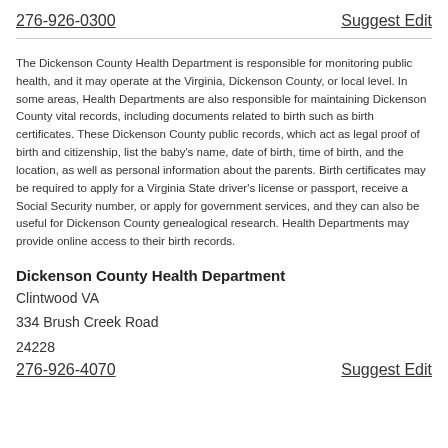276-926-0300
Suggest Edit
The Dickenson County Health Department is responsible for monitoring public health, and it may operate at the Virginia, Dickenson County, or local level. In some areas, Health Departments are also responsible for maintaining Dickenson County vital records, including documents related to birth such as birth certificates. These Dickenson County public records, which act as legal proof of birth and citizenship, list the baby's name, date of birth, time of birth, and the location, as well as personal information about the parents. Birth certificates may be required to apply for a Virginia State driver's license or passport, receive a Social Security number, or apply for government services, and they can also be useful for Dickenson County genealogical research. Health Departments may provide online access to their birth records.
Dickenson County Health Department
Clintwood VA
334 Brush Creek Road
24228
276-926-4070
Suggest Edit